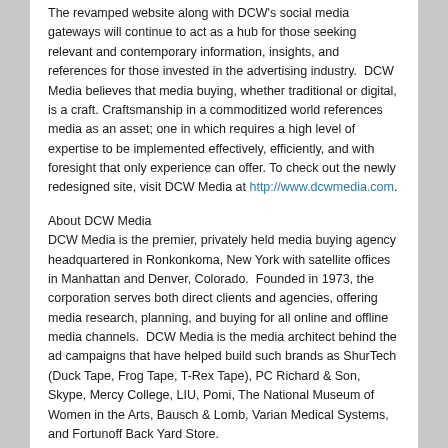The revamped website along with DCW's social media gateways will continue to act as a hub for those seeking relevant and contemporary information, insights, and references for those invested in the advertising industry.  DCW Media believes that media buying, whether traditional or digital, is a craft. Craftsmanship in a commoditized world references media as an asset; one in which requires a high level of expertise to be implemented effectively, efficiently, and with foresight that only experience can offer. To check out the newly redesigned site, visit DCW Media at http://www.dcwmedia.com.
About DCW Media
DCW Media is the premier, privately held media buying agency headquartered in Ronkonkoma, New York with satellite offices in Manhattan and Denver, Colorado.  Founded in 1973, the corporation serves both direct clients and agencies, offering media research, planning, and buying for all online and offline media channels.  DCW Media is the media architect behind the ad campaigns that have helped build such brands as ShurTech (Duck Tape, Frog Tape, T-Rex Tape), PC Richard & Son, Skype, Mercy College, LIU, Pomi, The National Museum of Women in the Arts, Bausch & Lomb, Varian Medical Systems, and Fortunoff Back Yard Store.